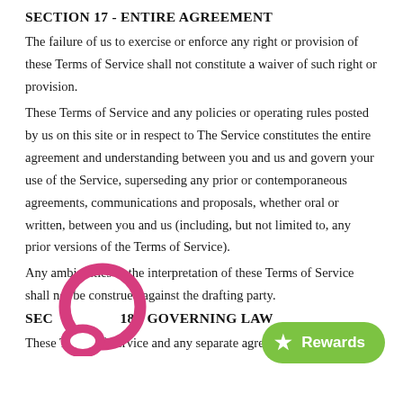SECTION 17 - ENTIRE AGREEMENT
The failure of us to exercise or enforce any right or provision of these Terms of Service shall not constitute a waiver of such right or provision.
These Terms of Service and any policies or operating rules posted by us on this site or in respect to The Service constitutes the entire agreement and understanding between you and us and govern your use of the Service, superseding any prior or contemporaneous agreements, communications and proposals, whether oral or written, between you and us (including, but not limited to, any prior versions of the Terms of Service).
Any ambiguities in the interpretation of these Terms of Service shall not be construed against the drafting party.
SECTION 18 - GOVERNING LAW
These Terms of Service and any separate agreements whereby